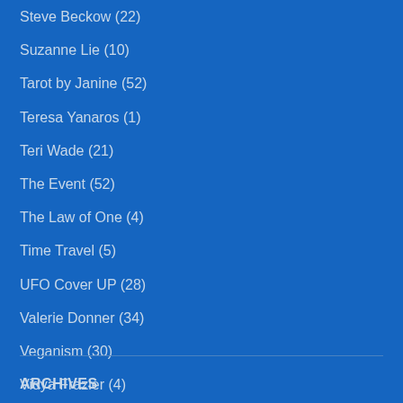Steve Beckow (22)
Suzanne Lie (10)
Tarot by Janine (52)
Teresa Yanaros (1)
Teri Wade (21)
The Event (52)
The Law of One (4)
Time Travel (5)
UFO Cover UP (28)
Valerie Donner (34)
Veganism (30)
Vidya Frazier (4)
Webshop (1)
William Tompkins (1)
Wonder Twins (1)
ARCHIVES